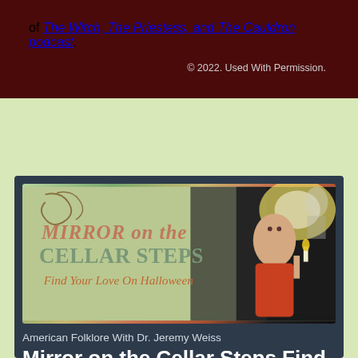of The Witch, The Priestess, and The Cauldron podcast.
© 2022. Used With Permission.
[Figure (illustration): Book or album cover image for 'Mirror on the Cellar Steps – Find Your Love On Halloween', featuring vintage art of a woman in red dress holding a candle with decorative text overlay]
American Folklore With Dr. Jeremy Weiss
Mirror on the Cellar Steps Find Your Love on